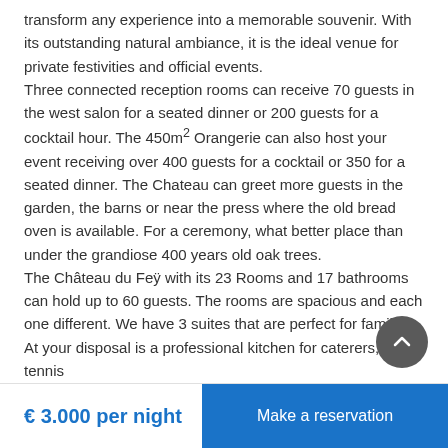transform any experience into a memorable souvenir. With its outstanding natural ambiance, it is the ideal venue for private festivities and official events.
Three connected reception rooms can receive 70 guests in the west salon for a seated dinner or 200 guests for a cocktail hour. The 450m² Orangerie can also host your event receiving over 400 guests for a cocktail or 350 for a seated dinner. The Chateau can greet more guests in the garden, the barns or near the press where the old bread oven is available. For a ceremony, what better place than under the grandiose 400 years old oak trees.
The Château du Feÿ with its 23 Rooms and 17 bathrooms can hold up to 60 guests. The rooms are spacious and each one different. We have 3 suites that are perfect for families.
At your disposal is a professional kitchen for caterers, a tennis
€ 3.000 per night
Make a reservation